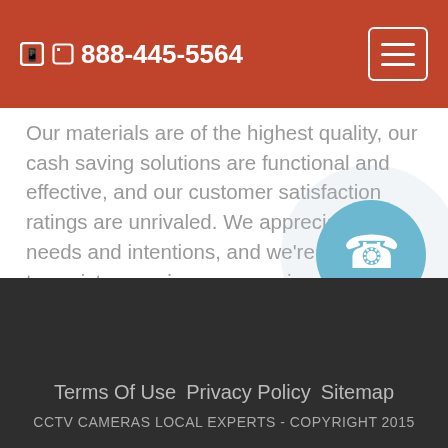888-445-5564
Our materials are of the highest quality, our cash saving solutions are functional and effective, and our customer satisfaction ratings are unrivaled. We appreciate your needs and intentions, and we're available to assist you using our experience. Dial 888-445-5564 when you need CCTV Cameras in Red Cliff, and we're going to work closely with you to expertly complete your job.
Terms Of Use   Privacy Policy   Sitemap
CCTV CAMERAS LOCAL EXPERTS - COPYRIGHT 2015